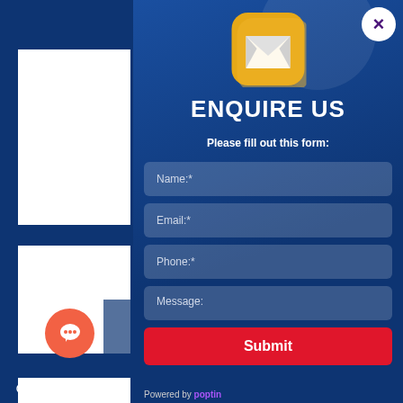[Figure (screenshot): Sidebar with white panels on dark blue background]
[Figure (illustration): Orange circular chat button with speech bubble icon]
GetButton
[Figure (illustration): Yellow rounded square mail/envelope icon]
ENQUIRE US
Please fill out this form:
Name:*
Email:*
Phone:*
Message:
Submit
Powered by poptin